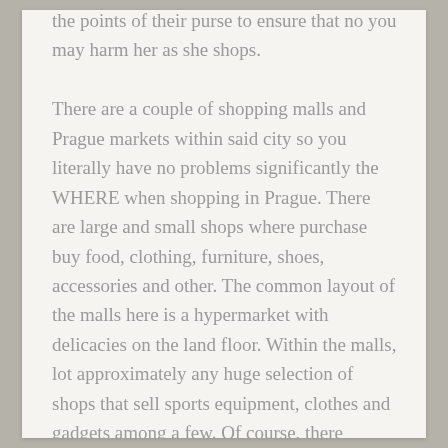the points of their purse to ensure that no you may harm her as she shops.

There are a couple of shopping malls and Prague markets within said city so you literally have no problems significantly the WHERE when shopping in Prague. There are large and small shops where purchase buy food, clothing, furniture, shoes, accessories and other. The common layout of the malls here is a hypermarket with delicacies on the land floor. Within the malls, lot approximately any huge selection of shops that sell sports equipment, clothes and gadgets among a few. Of course, there likewise cafes, restaurants, cinemas and gyms within most of this malls inside city. You will find every bit of the shops and Prague markets in the center from the